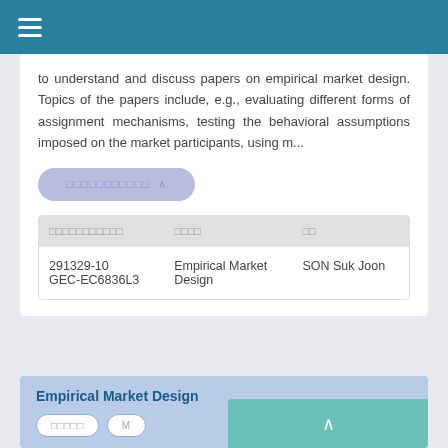☰
to understand and discuss papers on empirical market design. Topics of the papers include, e.g., evaluating different forms of assignment mechanisms, testing the behavioral assumptions imposed on the market participants, using m...
□□□□□□□□□□□ ∧
| □□□□□□□□□□□ | □□□□ | □□ |
| --- | --- | --- |
| 291329-10 GEC-EC6836L3 | Empirical Market Design | SON Suk Joon |
Empirical Market Design
□□□□□  M...